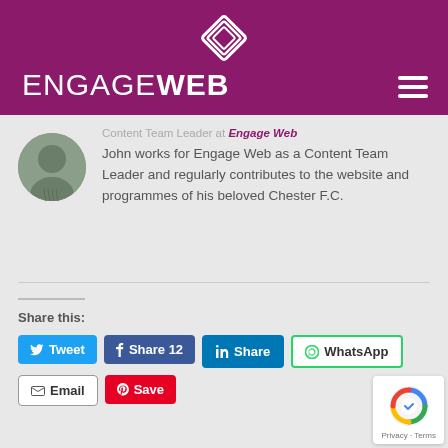[Figure (logo): Engage Web logo with white diamond/layers icon above text on purple background]
Content Team Leader at Engage Web
John works for Engage Web as a Content Team Leader and regularly contributes to the website and programmes of his beloved Chester F.C.
Share this:
Tweet | Share 12 | Share | WhatsApp | Email | Save